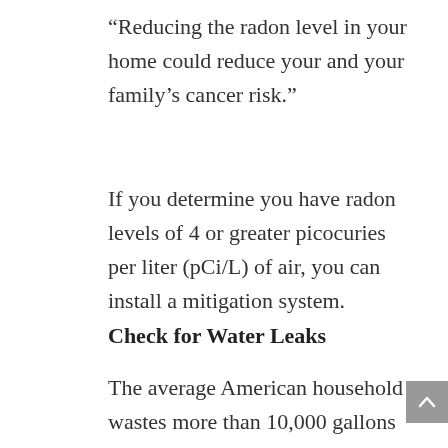“Reducing the radon level in your home could reduce your and your family’s cancer risk.”
If you determine you have radon levels of 4 or greater picocuries per liter (pCi/L) of air, you can install a mitigation system.
Check for Water Leaks
The average American household wastes more than 10,000 gallons of water each year from easy-to-fix water leaks. To put that in perspective, you could wash 270 loads of laundry with all of that wasted water. The City of Greeley Water Department